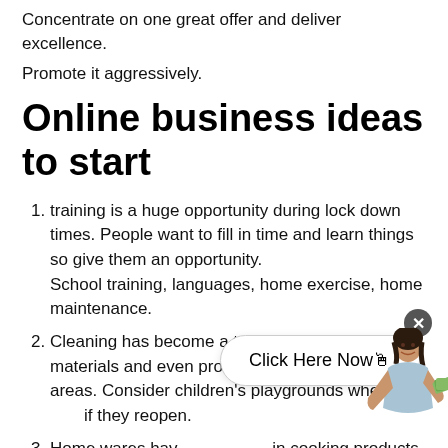Concentrate on one great offer and deliver excellence.
Promote it aggressively.
Online business ideas to start
training is a huge opportunity during lock down times. People want to fill in time and learn things so give them an opportunity. School training, languages, home exercise, home maintenance.
Cleaning has become a trend product, cleaning materials and even promoting labour or target areas. Consider children's playgrounds when and if they reopen.
Home wares have seen a massive increase in cooking products, carpets, curtains, cushions. Everything busy people don't notice but lock downs